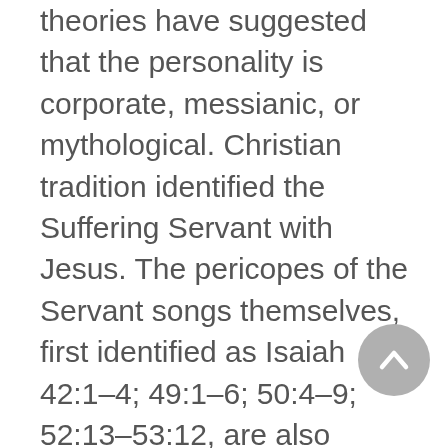theories have suggested that the personality is corporate, messianic, or mythological. Christian tradition identified the Suffering Servant with Jesus. The pericopes of the Servant songs themselves, first identified as Isaiah 42:1–4; 49:1–6; 50:4–9; 52:13–53:12, are also subject to scholarly question, with many commentators adding verses to the first two sections and others including additional passages from Deutero-Isaiah as parts of songs. Particularly subject to